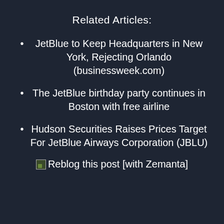Related Articles:
JetBlue to Keep Headquarters in New York, Rejecting Orlando (businessweek.com)
The JetBlue birthday party continues in Boston with free airline
Hudson Securities Raises Prices Target For JetBlue Airways Corporation (JBLU)
Reblog this post [with Zemanta]